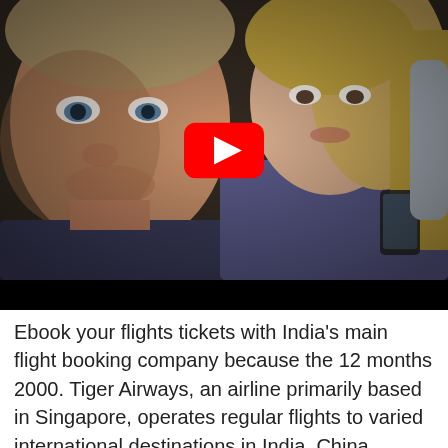[Figure (screenshot): A video thumbnail showing two people seated on an airplane — a man on the left with a serious expression and a woman with long blonde hair on the right holding a phone. A YouTube play button overlay is centered on the image. A black bar appears at the bottom of the video frame.]
Ebook your flights tickets with India's main flight booking company because the 12 months 2000. Tiger Airways, an airline primarily based in Singapore, operates regular flights to varied international destinations in India, China, Indonesia, Australia, Korea, Philippines, Thailand, Malaysia, Vietnam and Macau. Indirect flight routes to Japan have gotten increasingly popular, as they're nice value for cash ...